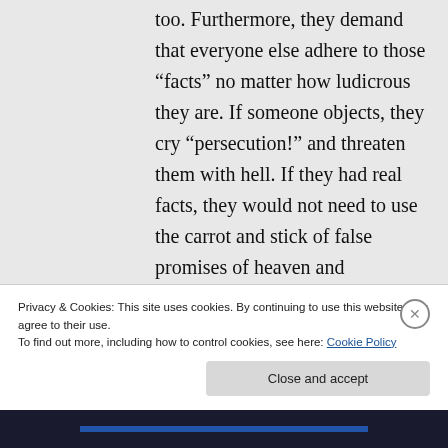too. Furthermore, they demand that everyone else adhere to those “facts” no matter how ludicrous they are. If someone objects, they cry “persecution!” and threaten them with hell. If they had real facts, they would not need to use the carrot and stick of false promises of heaven and
Privacy & Cookies: This site uses cookies. By continuing to use this website, you agree to their use.
To find out more, including how to control cookies, see here: Cookie Policy